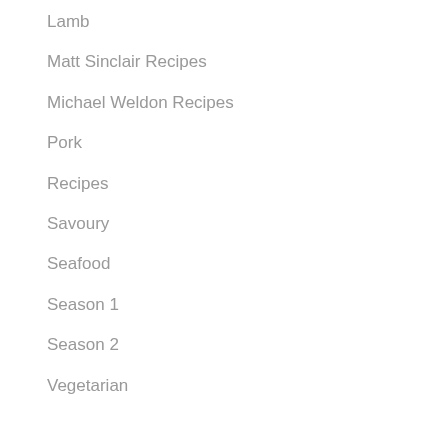Lamb
Matt Sinclair Recipes
Michael Weldon Recipes
Pork
Recipes
Savoury
Seafood
Season 1
Season 2
Vegetarian